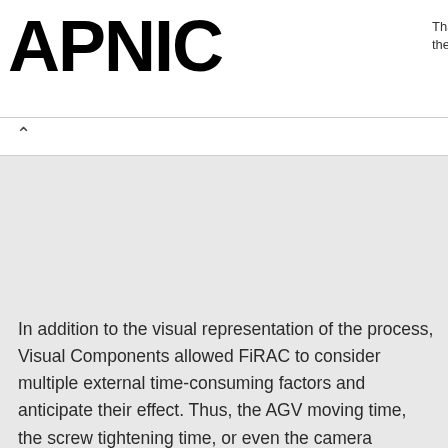APNIC | Thank you for helping us measure the Internet.
In addition to the visual representation of the process, Visual Components allowed FiRAC to consider multiple external time-consuming factors and anticipate their effect. Thus, the AGV moving time, the screw tightening time, or even the camera process time were taken into account very early stage, therefore providing a strong engineering background to the proposal.
That was one of the big advantages of using the Visual Components software that the visualized and validated proposal could be effectively communicated to PSA Group.